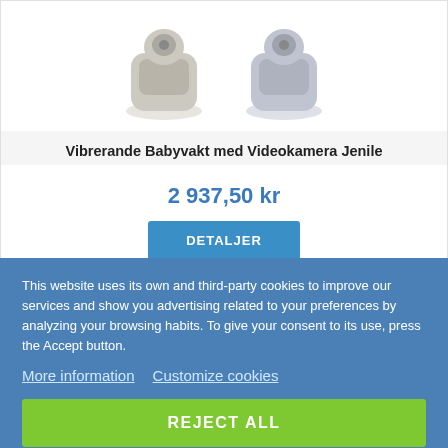[Figure (photo): Two white baby monitor devices shown from above on a white background]
Vibrerande Babyvakt med Videokamera Jenile
2 937,50 kr
DETALJER
This website uses its own and third-party cookies to improve our services and show you advertising related to your preferences by analyzing your browsing habits. To give your consent to its use, press the Accept button.
More information  Customize cookies
REJECT ALL
I ACCEPT